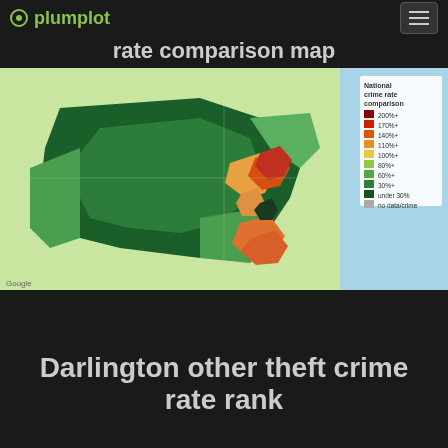plumplot
rate comparison map
[Figure (map): Choropleth map showing national crime rate comparison for Darlington and surrounding areas in northeast England. Areas are shaded from dark green (under 30%) through green (30%+, 60%+, 80%+), yellow-orange (100%+, 110%+), orange (140%+), red-orange (170%+), to dark red (200%+). Several areas near the center are highlighted in orange and red indicating higher crime rates. Legend on right side shows color scale: 200%+, 170%+, 140%+, 110%+, 100%+, 80%+, 60%+, 30%+, under 30%, no data/crime. Map powered by Google.]
Darlington other theft crime rate rank